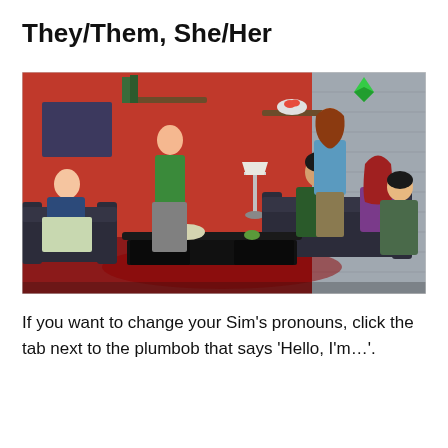They/Them, She/Her
[Figure (screenshot): Screenshot from The Sims 4 showing a group of six Sims in a modern living room with red walls. One Sim has a green plumbob diamond floating above their head. Characters are in various sitting and standing poses on dark sofas around a black coffee table.]
If you want to change your Sim's pronouns, click the tab next to the plumbob that says ‘Hello, I’m…’.